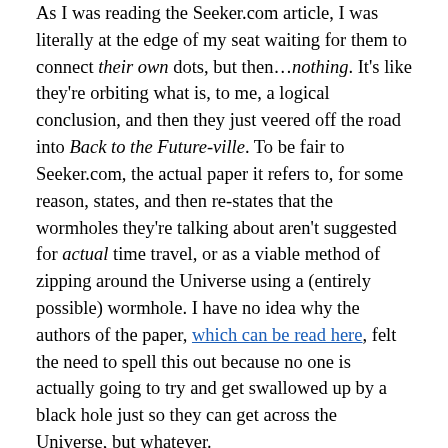As I was reading the Seeker.com article, I was literally at the edge of my seat waiting for them to connect their own dots, but then…nothing. It's like they're orbiting what is, to me, a logical conclusion, and then they just veered off the road into Back to the Future-ville. To be fair to Seeker.com, the actual paper it refers to, for some reason, states, and then re-states that the wormholes they're talking about aren't suggested for actual time travel, or as a viable method of zipping around the Universe using a (entirely possible) wormhole. I have no idea why the authors of the paper, which can be read here, felt the need to spell this out because no one is actually going to try and get swallowed up by a black hole just so they can get across the Universe, but whatever.
As I see it, we have a lot of dangling questions and paradigms from many different scientific disciplines, which,